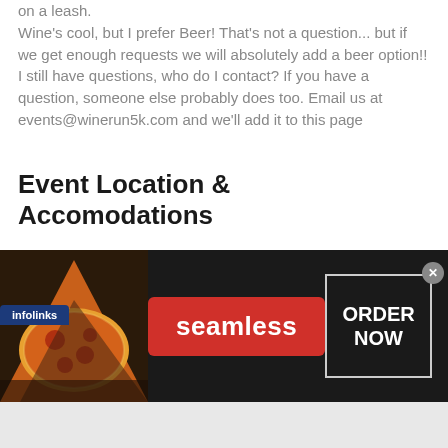on a leash.
Wine's cool, but I prefer Beer!  That's not a question… but if we get enough requests we will absolutely add a beer option!! I still have questions, who do I contact?  If you have a question, someone else probably does too.  Email us at events@winerun5k.com and we'll add it to this page
Event Location & Accomodations
[Figure (screenshot): Advertisement banner for Seamless food ordering service. Left side shows pizza image, center has red 'seamless' button, right has 'ORDER NOW' box with close button. 'infolinks' badge in top left corner.]